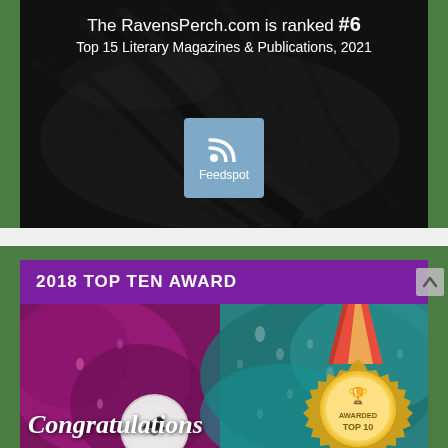[Figure (infographic): Dark background with black raven feathers. White text reads 'The RavensPerch.com is ranked #6 Top 15 Literary Magazines & Publications, 2021'. A blue Feedspot badge with RSS icon is centered below the text.]
The RavensPerch.com is ranked #6 Top 15 Literary Magazines & Publications, 2021
2018 TOP TEN AWARD
[Figure (infographic): Award image with teal leaf background and magenta/purple flower. Cursive 'Congratulations' text on left side. A gold medal with red ribbon on the right side reads 'AWARDED TOP 10'. A circular bird logo is partially visible at bottom center.]